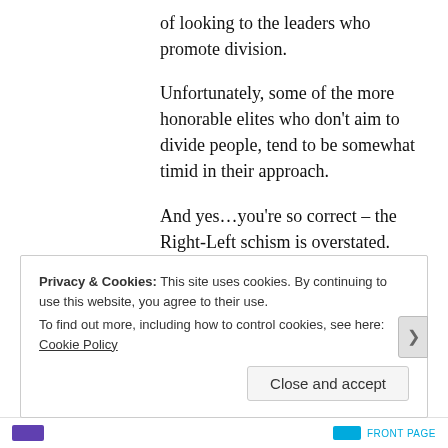of looking to the leaders who promote division.
Unfortunately, some of the more honorable elites who don't aim to divide people, tend to be somewhat timid in their approach.
And yes…you're so correct – the Right-Left schism is overstated. After all, we're all human beings. Although we're different, we're similar too. Too often recently, the political process is viewed
Privacy & Cookies: This site uses cookies. By continuing to use this website, you agree to their use. To find out more, including how to control cookies, see here: Cookie Policy